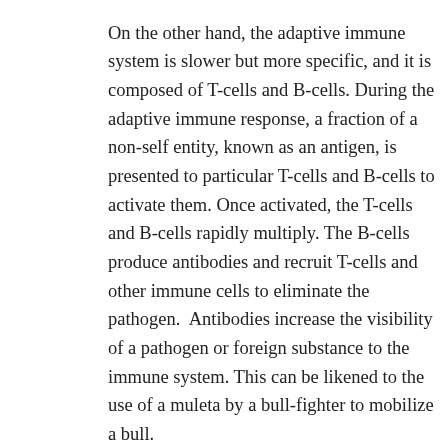On the other hand, the adaptive immune system is slower but more specific, and it is composed of T-cells and B-cells. During the adaptive immune response, a fraction of a non-self entity, known as an antigen, is presented to particular T-cells and B-cells to activate them. Once activated, the T-cells and B-cells rapidly multiply. The B-cells produce antibodies and recruit T-cells and other immune cells to eliminate the pathogen.  Antibodies increase the visibility of a pathogen or foreign substance to the immune system. This can be likened to the use of a muleta by a bull-fighter to mobilize a bull.
In cancer, various specialized immune cells reside in the surrounding area of tumor cells (the tumor microenvironment). The particular immune cell of interest to cancer immunotherapy researchers is the T-cell because it exclusively champions cancer